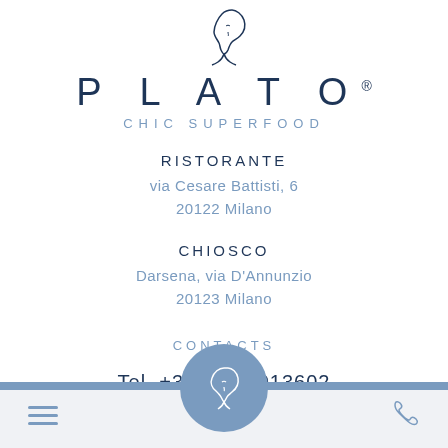[Figure (logo): Plato Chic Superfood logo with ancient head silhouette above the text PLATO and subtitle CHIC SUPERFOOD]
RISTORANTE
via Cesare Battisti, 6
20122 Milano
CHIOSCO
Darsena, via D'Annunzio
20123 Milano
CONTACTS
Tel. +39 02 55013602
[Figure (illustration): Bottom navigation bar with hamburger menu icon on left, circular Plato logo button in center, and phone icon on right, over a steel blue accent strip]